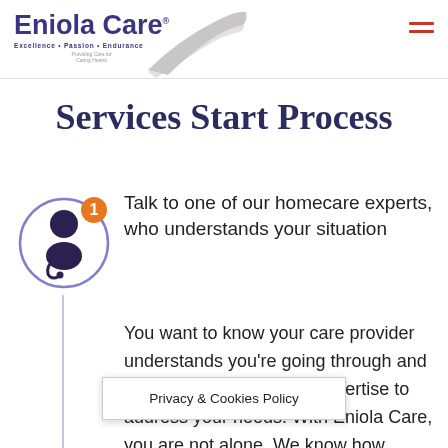Eniola Care — Excellence • Passion • Endurance
Services Start Process
[Figure (illustration): Step 1 icon: person/doctor silhouette inside a purple circle with orange badge showing number 1]
Talk to one of our homecare experts, who understands your situation
You want to know your care provider understands you're going through and has the experience and expertise to address your needs. With Eniola Care, you are not alone. We know how to... have
Privacy & Cookies Policy